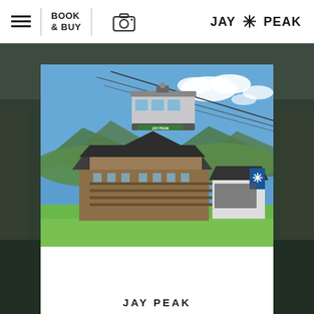BOOK & BUY | [hamburger menu] [camera icon] | JAY PEAK
[Figure (photo): Jay Peak resort photograph showing a gondola/tram car branded 'JAY PEAK' suspended on cables above a large alpine lodge building and tram station. Green mountains in background, blue sky with white clouds, green lawn in foreground.]
JAY PEAK